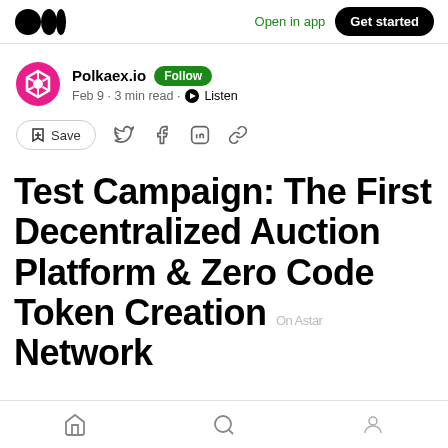Open in app  Get started
Polkaex.io  Follow
Feb 9 · 3 min read · Listen
Save
Test Campaign: The First Decentralized Auction Platform & Zero Code Token Creation On Astar Network
Home  Search  Profile